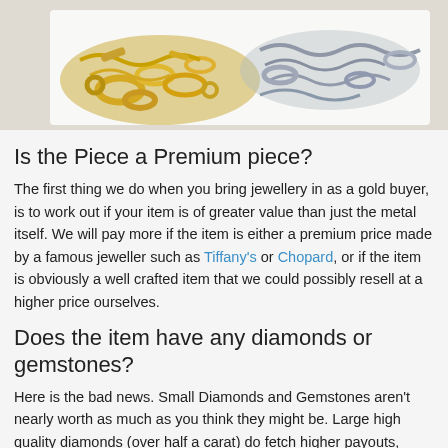[Figure (photo): Photo of a pile of gold and silver jewellery including rings, chains, and other pieces on a white background]
Is the Piece a Premium piece?
The first thing we do when you bring jewellery in as a gold buyer, is to work out if your item is of greater value than just the metal itself. We will pay more if the item is either a premium price made by a famous jeweller such as Tiffany’s or Chopard, or if the item is obviously a well crafted item that we could possibly resell at a higher price ourselves.
Does the item have any diamonds or gemstones?
Here is the bad news. Small Diamonds and Gemstones aren’t nearly worth as much as you think they might be. Large high quality diamonds (over half a carat) do fetch higher payouts,